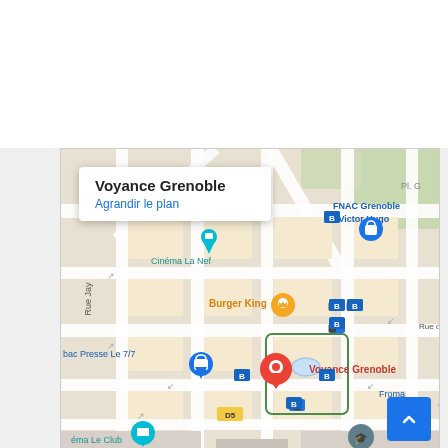[Figure (map): Google Maps screenshot showing Voyance Grenoble location with a red map pin labeled 'Voyance Grenoble'. Nearby landmarks include FNAC Grenoble - Victor Hugo, Burger King, Cinéma La Nef, bac Presse Le 7/7, éma Le Club. A white tooltip popup at top-left reads 'Voyance Grenoble' in bold and 'Agrandir le plan' in blue. A blue scroll-to-top button appears at bottom-right of the map.]